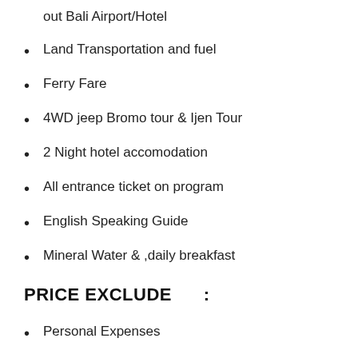out Bali Airport/Hotel
Land Transportation and fuel
Ferry Fare
4WD jeep  Bromo tour & Ijen Tour
2 Night hotel accomodation
All entrance ticket on program
English Speaking Guide
Mineral Water & ,daily breakfast
PRICE EXCLUDE    :
Personal Expenses
Lunch and Dinner
Horse Riding mt Bromo
Tipping,Bar,Laundry,Airport tax,